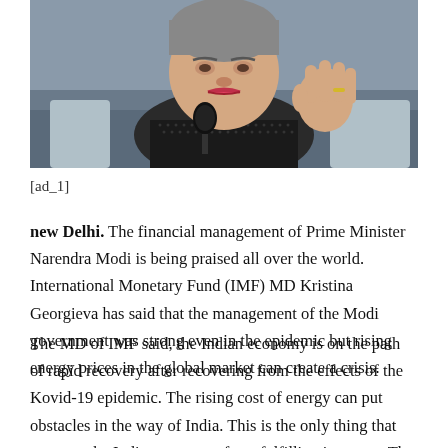[Figure (photo): A woman speaking into a microphone, raising her hand, wearing a patterned dark jacket. Appears to be Kristina Georgieva, IMF MD, at a public event.]
[ad_1]
new Delhi. The financial management of Prime Minister Narendra Modi is being praised all over the world. International Monetary Fund (IMF) MD Kristina Georgieva has said that the management of the Modi government was strong even in the epidemic but rising energy prices in the global market can create a crisis.
The MD of IMF said, the Indian economy is on the path of rapid recovery after recovering from the effects of the Kovid-19 epidemic. The rising cost of energy can put obstacles in the way of India. This is the only thing that can stop the Indian economy from fulfilling its target. The present government will have to find a way out of this